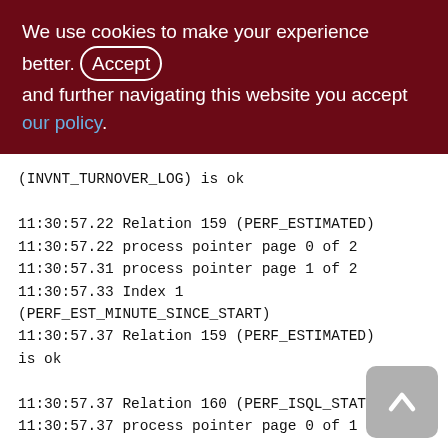We use cookies to make your experience better. By accepting and further navigating this website you accept our policy.
(INVNT_TURNOVER_LOG) is ok
11:30:57.22 Relation 159 (PERF_ESTIMATED)
11:30:57.22 process pointer page 0 of 2
11:30:57.31 process pointer page 1 of 2
11:30:57.33 Index 1 (PERF_EST_MINUTE_SINCE_START)
11:30:57.37 Relation 159 (PERF_ESTIMATED) is ok
11:30:57.37 Relation 160 (PERF_ISQL_STAT)
11:30:57.37 process pointer page 0 of 1